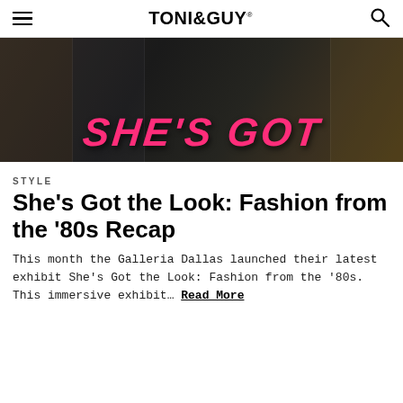TONI&GUY
[Figure (photo): Dark event photo with pink graffiti-style text reading 'SHE'S GOT' overlaid on a dark background with various images]
STYLE
She's Got the Look: Fashion from the '80s Recap
This month the Galleria Dallas launched their latest exhibit She's Got the Look: Fashion from the '80s. This immersive exhibit… Read More